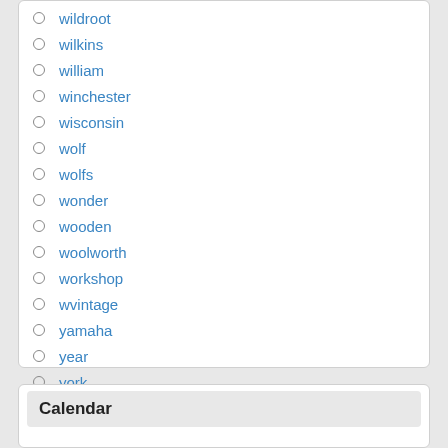wildroot
wilkins
william
winchester
wisconsin
wolf
wolfs
wonder
wooden
woolworth
workshop
wvintage
yamaha
year
york
zekes
Calendar